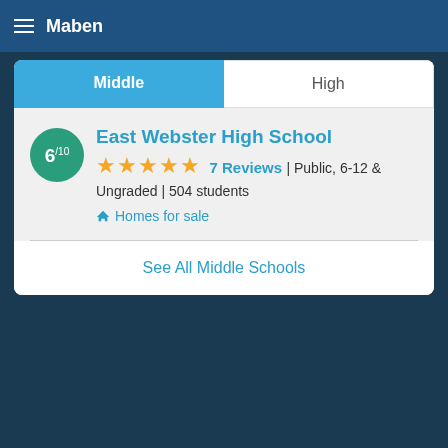Maben
Middle | High
East Webster High School
★★★★★ 7 Reviews | Public, 6-12 & Ungraded | 504 students
Homes for sale
See All Middle Schools